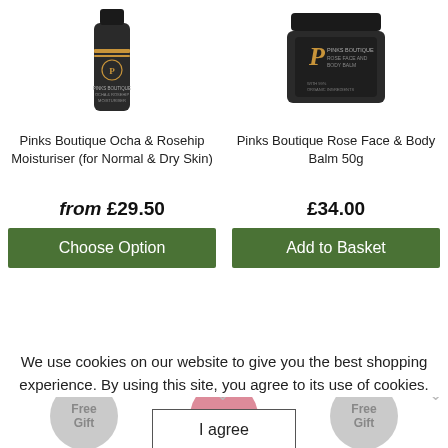[Figure (photo): Product photo of Pinks Boutique Ocha & Rosehip Moisturiser bottle (dark cylindrical bottle)]
[Figure (photo): Product photo of Pinks Boutique Rose Face & Body Balm 50g (dark round jar)]
Pinks Boutique Ocha & Rosehip Moisturiser (for Normal & Dry Skin)
Pinks Boutique Rose Face & Body Balm 50g
from £29.50
£34.00
Choose Option
Add to Basket
We use cookies on our website to give you the best shopping experience. By using this site, you agree to its use of cookies.
Free Gift
SALE
Free Gift
I agree